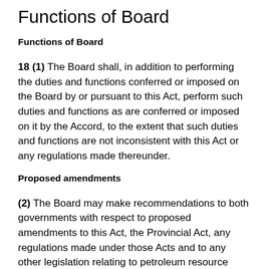Functions of Board
Functions of Board
18 (1) The Board shall, in addition to performing the duties and functions conferred or imposed on the Board by or pursuant to this Act, perform such duties and functions as are conferred or imposed on it by the Accord, to the extent that such duties and functions are not inconsistent with this Act or any regulations made thereunder.
Proposed amendments
(2) The Board may make recommendations to both governments with respect to proposed amendments to this Act, the Provincial Act, any regulations made under those Acts and to any other legislation relating to petroleum resource activities in the offshore area.
Access to information by governments